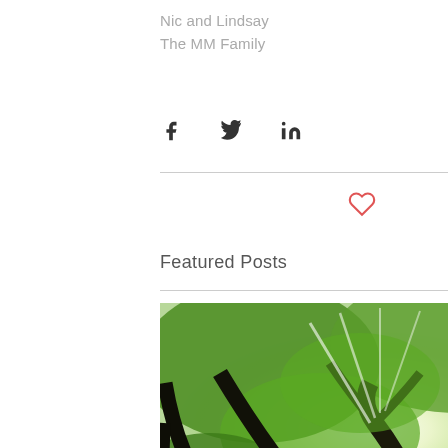Nic and Lindsay
The MM Family
[Figure (other): Social share icons: Facebook, Twitter, LinkedIn]
[Figure (other): Heart/like icon outline in red]
Featured Posts
[Figure (photo): Looking up through tall forest trees with sunlight bursting through the green canopy]